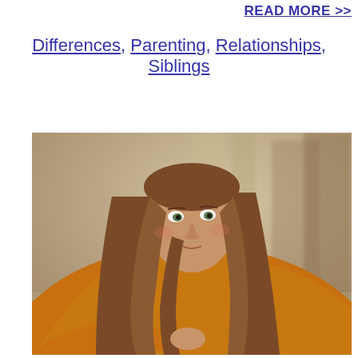READ MORE >>
Differences, Parenting, Relationships, Siblings
[Figure (photo): A teenage girl with long brown hair wearing an orange/mustard sweater over a light blue collared shirt, leaning forward on her arm and looking at the camera with a thoughtful or melancholy expression. The background shows a blurred indoor setting that looks like school lockers.]